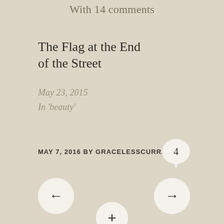With 14 comments
The Flag at the End of the Street
May 23, 2015
In 'beauty'
MAY 7, 2016 BY GRACELESSCURRAN
[Figure (other): Comment count bubble showing '4']
[Figure (other): Left navigation arrow button (circle with left arrow)]
[Figure (other): Right navigation arrow button (circle with right arrow)]
[Figure (other): Plus button (circle with plus sign) at bottom center]